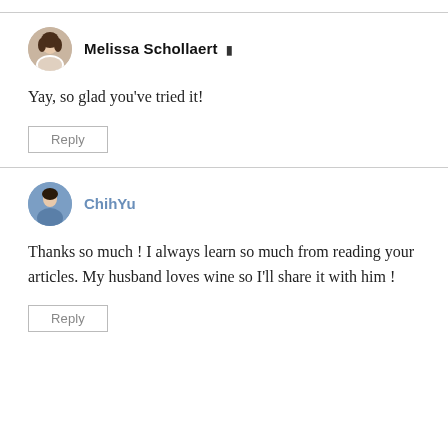[Figure (photo): Avatar photo of Melissa Schollaert, circular crop, woman in white]
Melissa Schollaert ▲
Yay, so glad you've tried it!
Reply
[Figure (photo): Avatar photo of ChihYu, circular crop, person in blue]
ChihYu
Thanks so much ! I always learn so much from reading your articles. My husband loves wine so I'll share it with him !
Reply